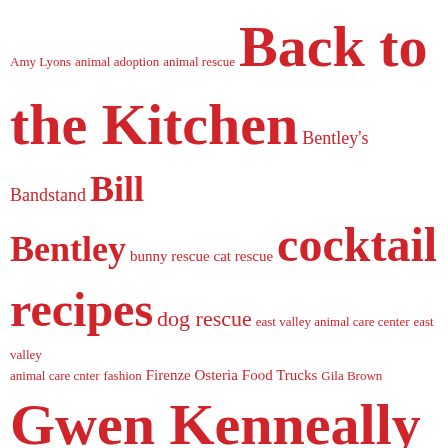[Figure (other): Tag cloud with various terms in shades of red, sized by frequency/importance. Terms include: Amy Lyons, animal adoption, animal rescue, Back to the Kitchen, Bentley's Bandstand, Bill Bentley, bunny rescue, cat rescue, cocktail recipes, dog rescue, east valley animal care center, east valley animal care cnter, fashion, Firenze Osteria, Food Trucks, Gila Brown, Gwen Kenneally, Hotel Surplus Outlet, Joanne Kimes, Jo Perry, Karen Young, Kids' Book Corner, Loteria Grill, music reviews, My Daily Find, my daily find animal, My Four-Legged Finds, Nesmon Cafe, parenting sucks, pet adoption, san fernando valley, rachel weil, Recipes, restaurant news in the San Fernando Valley, restaurant news san fernando valley, San Fernando Valley, San Fernando Valley restaurants, Sherman Oaks, sonicboomers.com, Studio City, Studio City restaurants, The Weekend Cocktail, things to do in the san fernando valley]